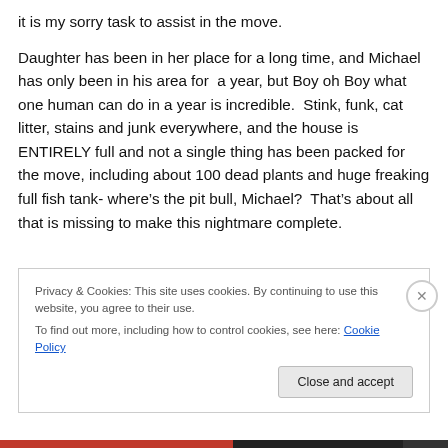it is my sorry task to assist in the move.
Daughter has been in her place for a long time, and Michael has only been in his area for  a year, but Boy oh Boy what one human can do in a year is incredible.  Stink, funk, cat litter, stains and junk everywhere, and the house is ENTIRELY full and not a single thing has been packed for the move, including about 100 dead plants and huge freaking full fish tank- where’s the pit bull, Michael?  That’s about all that is missing to make this nightmare complete.
Privacy & Cookies: This site uses cookies. By continuing to use this website, you agree to their use.
To find out more, including how to control cookies, see here: Cookie Policy